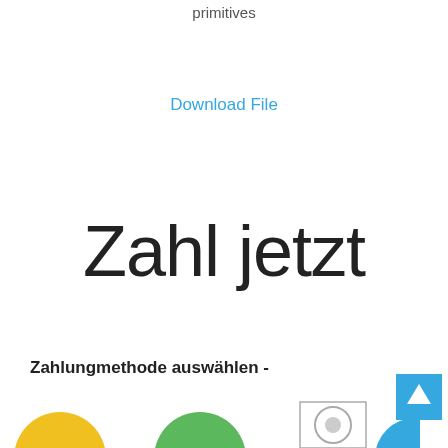primitives
Download File
Zahl jetzt
Zahlungmethode auswählen -
[Figure (illustration): Navigation back-to-top button (cyan/blue square with upward arrow)]
[Figure (illustration): Payment method icons row at the bottom: yellow circle, green circle, circular icon in box, blue circle (partially visible)]